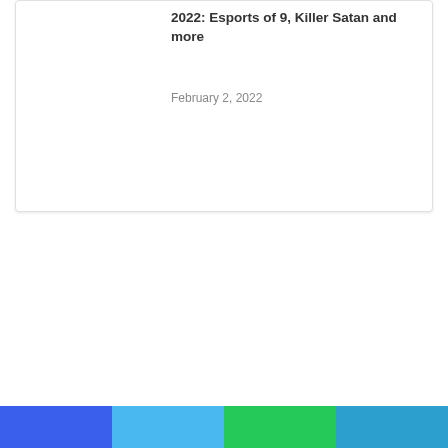2022: Esports of 9, Killer Satan and more
February 2, 2022
how it will differ from the main game but Riot says the new version will simply be called Valorant mobile The developer claims that the pc version of the game which launched last year currently averages 14 million monthly players Valorant is also coming off of its biggest competitive tournament to date with an event in Iceland and riot says that more than 1 million concurrent views tuned in to the finals on may 31
The news should be too surprising Earlier this year Riot made a simliar move with league of Legends luaching a mobile focused spinoff called wild Riot meanwhile some of the most popular shooter in the world have moved to a smartphone iteration of apex Legends is also on the